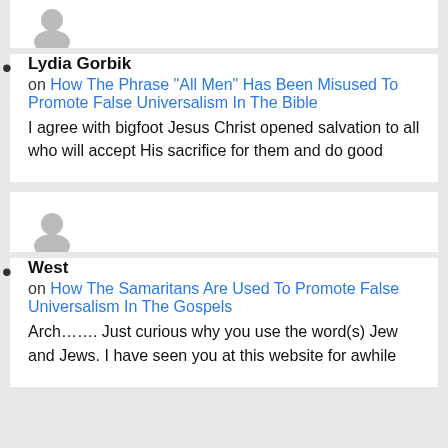[Figure (illustration): Partial gray avatar icon at top of page (cropped)]
Lydia Gorbik on How The Phrase “All Men” Has Been Misused To Promote False Universalism In The Bible
I agree with bigfoot Jesus Christ opened salvation to all who will accept His sacrifice for them and do good
[Figure (illustration): Gray default user avatar icon]
West on How The Samaritans Are Used To Promote False Universalism In The Gospels
Arch……. Just curious why you use the word(s) Jew and Jews. I have seen you at this website for awhile